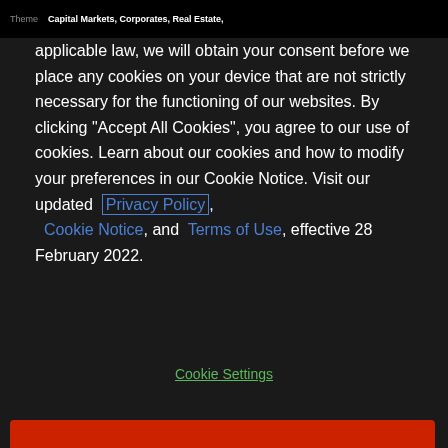Theme  Capital Markets, Corporates, Real Estate,
applicable law, we will obtain your consent before we place any cookies on your device that are not strictly necessary for the functioning of our websites. By clicking "Accept All Cookies", you agree to our use of cookies. Learn about our cookies and how to modify your preferences in our Cookie Notice. Visit our updated Privacy Policy, Cookie Notice, and Terms of Use, effective 28 February 2022.
Cookie Settings